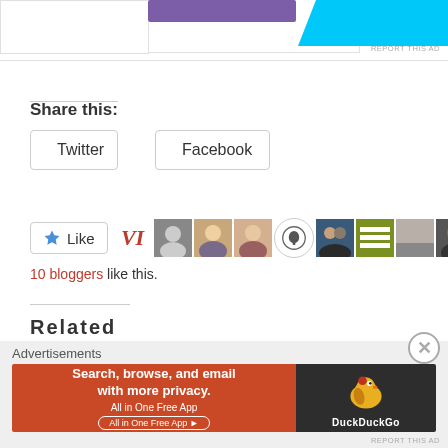[Figure (screenshot): Top partial advertisement banner with purple button and blue shape visible]
REPORT THIS AD
Share this:
[Figure (screenshot): Twitter share button with Twitter bird icon]
[Figure (screenshot): Facebook share button with Facebook icon]
[Figure (screenshot): Like button with star icon and blogger avatars row showing 10 bloggers]
10 bloggers like this.
Related
Advertisements
[Figure (screenshot): DuckDuckGo advertisement banner: Search, browse, and email with more privacy. All in One Free App.]